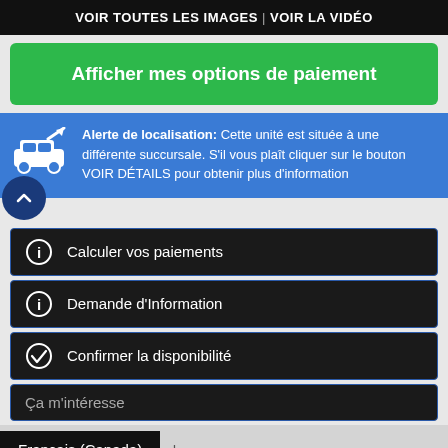VOIR TOUTES LES IMAGES  |  VOIR LA VIDÉO
Afficher mes options de paiement
Alerte de localisation: Cette unité est située à une différente succursale. S'il vous plaît cliquer sur le bouton VOIR DÉTAILS pour obtenir plus d'information
Calculer vos paiements
Demande d'Information
Confirmer la disponibilité
Ça m'intéresse
Français (Canada)